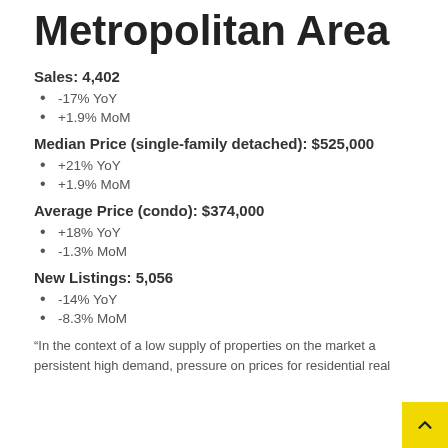Metropolitan Area
Sales: 4,402
-17% YoY
+1.9% MoM
Median Price (single-family detached): $525,000
+21% YoY
+1.9% MoM
Average Price (condo): $374,000
+18% YoY
-1.3% MoM
New Listings: 5,056
-14% YoY
-8.3% MoM
“In the context of a low supply of properties on the market a persistent high demand, pressure on prices for residential real